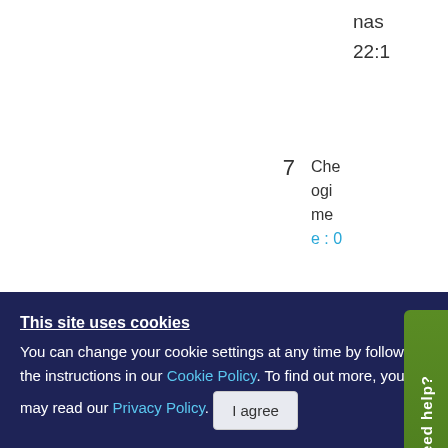nas 22:1
7  Che ogi me e : 0
[Figure (other): Green 'Need help?' vertical tab button on right side of page]
8
9  [x icon] re mit
This site uses cookies
You can change your cookie settings at any time by following the instructions in our Cookie Policy. To find out more, you may read our Privacy Policy.
I agree